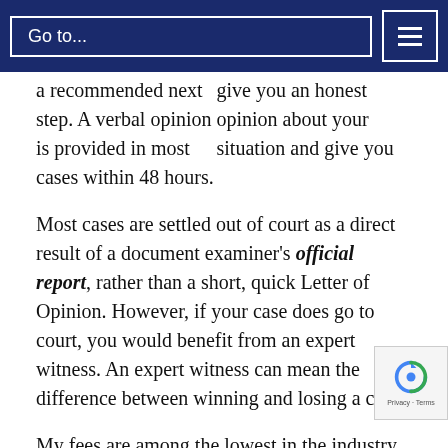Go to...
give you an honest opinion about your situation and give you a recommended next step. A verbal opinion is provided in most cases within 48 hours.
Most cases are settled out of court as a direct result of a document examiner's official report, rather than a short, quick Letter of Opinion. However, if your case does go to court, you would benefit from an expert witness. An expert witness can mean the difference between winning and losing a case.
My fees are among the lowest in the industry, always fairly billed, with no surprises.
Please take a moment to call me and